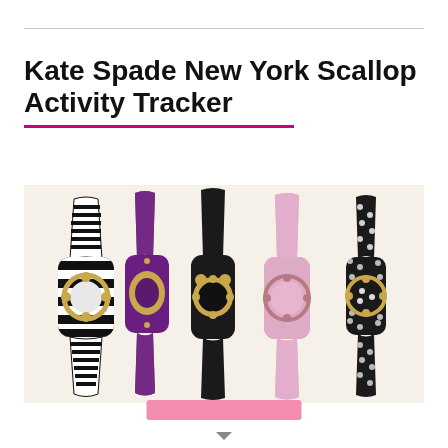Kate Spade New York Scallop Activity Tracker
[Figure (photo): Five Kate Spade New York Scallop Activity Tracker wristbands shown side by side: black and white stripes, purple glitter, solid black with gold accents, pink glitter, and black with white polka dots. Each has a scallop-edged circular face with gold hardware.]